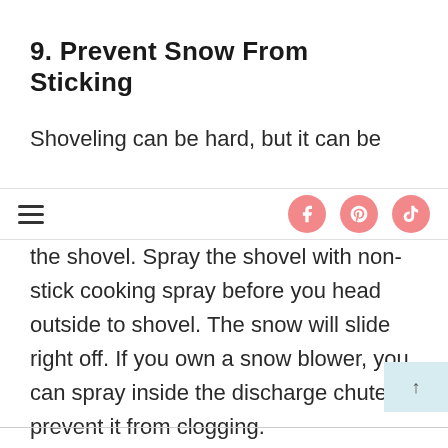9. Prevent Snow From Sticking
Shoveling can be hard, but it can be
the shovel. Spray the shovel with non-stick cooking spray before you head outside to shovel. The snow will slide right off. If you own a snow blower, you can spray inside the discharge chute to prevent it from clogging.